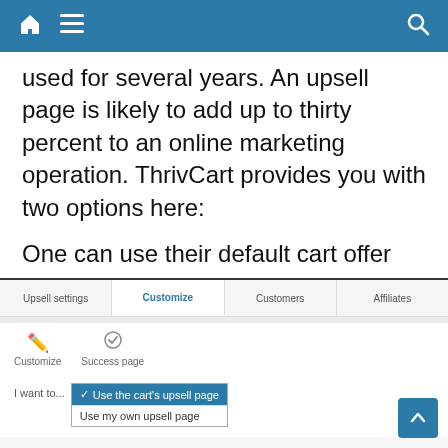Navigation bar with home, menu, and search icons
used for several years. An upsell page is likely to add up to thirty percent to an online marketing operation. ThrivCart provides you with two options here:
One can use their default cart offer page or your custom pages.
[Figure (screenshot): Screenshot of ThrivCart interface showing tabs: Upsell settings, Customize (active/blue), Customers, Affiliates. Below tabs shows sub-sections: Customize (pencil icon) and Success page (checkmark icon). A dropdown labeled 'I want to...' is open showing two options: 'Use the cart's upsell page' (highlighted in blue, selected with checkmark) and 'Use my own upsell page'.]